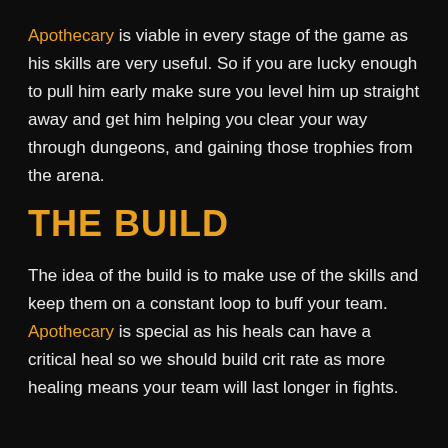Apothecary is viable in every stage of the game as his skills are very useful. So if you are lucky enough to pull him early make sure you level him up straight away and get him helping you clear your way through dungeons, and gaining those trophies from the arena.
THE BUILD
The idea of the build is to make use of the skills and keep them on a constant loop to buff your team. Apothecary is special as his heals can have a critical heal so we should build crit rate as more healing means your team will last longer in fights.